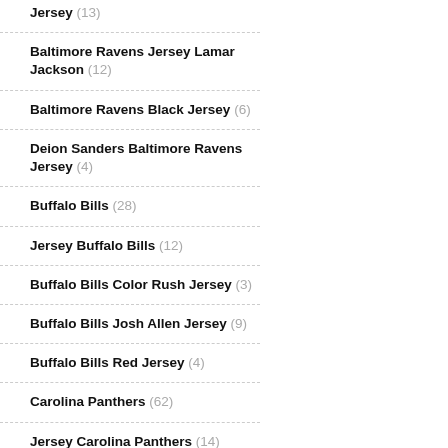Jersey (13)
Baltimore Ravens Jersey Lamar Jackson (12)
Baltimore Ravens Black Jersey (6)
Deion Sanders Baltimore Ravens Jersey (4)
Buffalo Bills (28)
Jersey Buffalo Bills (12)
Buffalo Bills Color Rush Jersey (3)
Buffalo Bills Josh Allen Jersey (9)
Buffalo Bills Red Jersey (4)
Carolina Panthers (62)
Jersey Carolina Panthers (14)
Cam Newton Carolina Panthers Jersey (8)
Carolina Panthers Jersey 2020 (8)
Carolina Panthers Blue Jersey (5)
Carolina Panthers Youth Jersey (6)